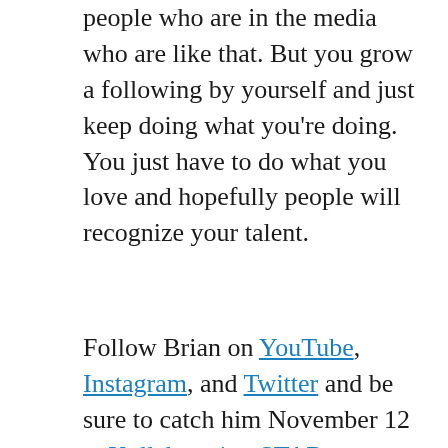people who are in the media who are like that. But you grow a following by yourself and just keep doing what you're doing. You just have to do what you love and hopefully people will recognize your talent.
Follow Brian on YouTube, Instagram, and Twitter and be sure to catch him November 12 at Kollaboration STAR.
[Figure (infographic): Save the Date for Kollaboration banner with dark blue background. Shows 'SAVE THE DATE FOR KOLLABORATION' in white text, with 'EMPOWER' in cyan and 'STAR' in gold/orange. Subtitles: 'CREATIVE LEADERSHIP CONFERENCE' and 'GRAND FINALE SHOWCASE'.]